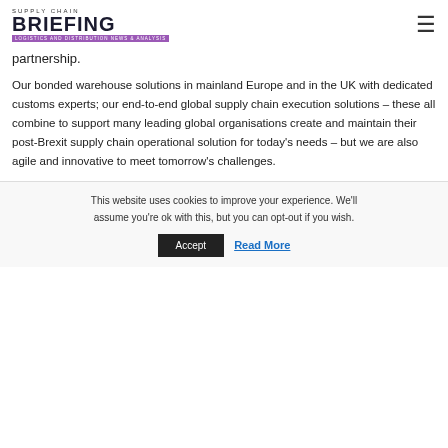Supply Chain BRIEFING
partnership.
Our bonded warehouse solutions in mainland Europe and in the UK with dedicated customs experts; our end-to-end global supply chain execution solutions – these all combine to support many leading global organisations create and maintain their post-Brexit supply chain operational solution for today’s needs – but we are also agile and innovative to meet tomorrow’s challenges.
This website uses cookies to improve your experience. We'll assume you're ok with this, but you can opt-out if you wish.
Accept   Read More